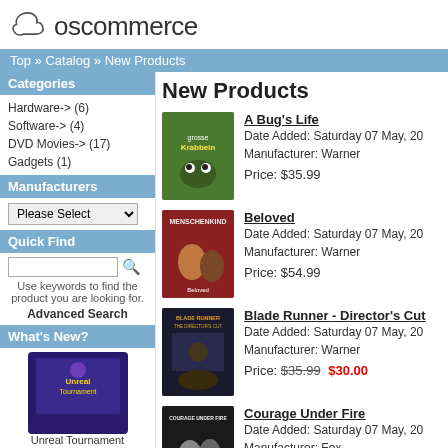[Figure (logo): osCommerce logo with cloud icon and text]
Top » Catalog » New Products
Categories
Hardware-> (6)
Software-> (4)
DVD Movies-> (17)
Gadgets (1)
Manufacturers
Please Select
Quick Find
Use keywords to find the product you are looking for.
Advanced Search
What's New?
[Figure (photo): Unreal Tournament box art]
Unreal Tournament
New Products
[Figure (photo): A Bug's Life DVD cover]
A Bug's Life
Date Added: Saturday 07 May, 20
Manufacturer: Warner
Price: $35.99
[Figure (photo): Beloved DVD cover (Menschenkind)]
Beloved
Date Added: Saturday 07 May, 20
Manufacturer: Warner
Price: $54.99
[Figure (photo): Blade Runner Director's Cut DVD cover]
Blade Runner - Director's Cut
Date Added: Saturday 07 May, 20
Manufacturer: Warner
Price: $35.99 $30.00
[Figure (photo): Courage Under Fire DVD cover]
Courage Under Fire
Date Added: Saturday 07 May, 20
Manufacturer: Fox